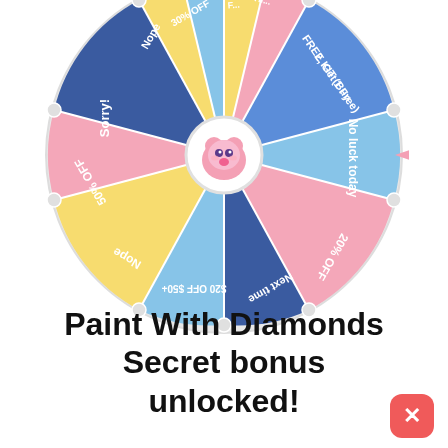[Figure (other): A colorful prize spin wheel with segments labeled: 30% OFF, FREE SHIPPING (partial), Almost (partial), FREE KIT (Buy 2 Get 1 Free), No luck today, 20% OFF, Next time, $20 OFF $50+, Nope, 50% OFF, Sorry!, and another Nope. The wheel has a pink elephant mascot in the center and a pink arrow pointer on the right side.]
Paint With Diamonds Secret bonus unlocked!